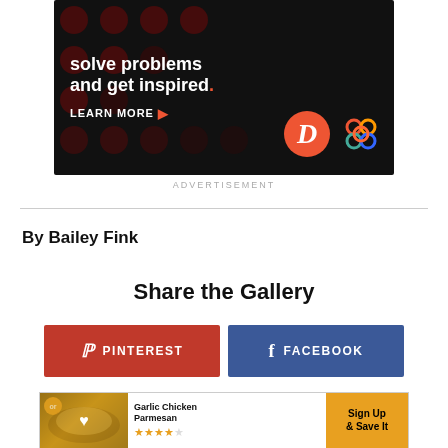[Figure (illustration): Advertisement banner with dark background featuring dots pattern, text 'solve problems and get inspired.' with 'LEARN MORE' button and logos for Dummies and another colorful brand]
ADVERTISEMENT
By Bailey Fink
Share the Gallery
[Figure (infographic): Pinterest and Facebook share buttons side by side]
[Figure (infographic): Recipe bar showing Garlic Chicken Parmesan with star rating and Sign Up & Save It button]